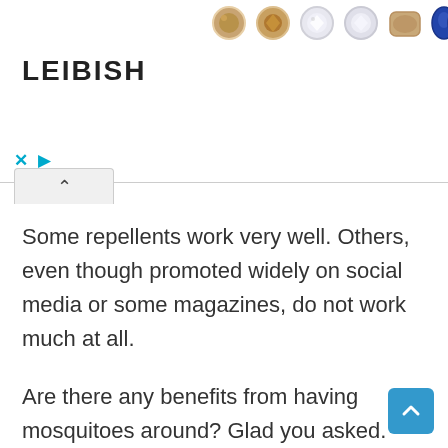[Figure (advertisement): Leibish jewelry advertisement banner showing various gemstone earrings and jewels including brown, clear/diamond, champagne, sapphire blue, and pink stones. LEIBISH brand name in bold text. Ad controls with X and play button icons.]
Some repellents work very well. Others, even though promoted widely on social media or some magazines, do not work much at all.
Are there any benefits from having mosquitoes around? Glad you asked. There is a researcher at the University of Florida who has recovered the DNA from Burmese pythons inside mosquitoes. The researcher is